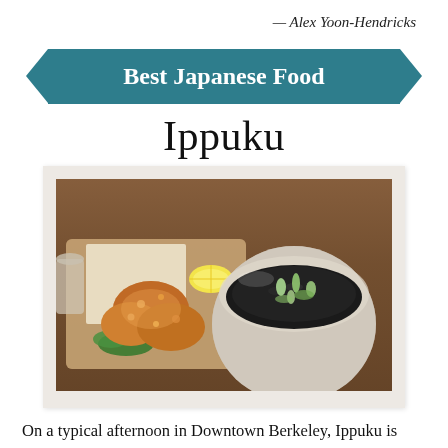— Alex Yoon-Hendricks
Best Japanese Food
Ippuku
[Figure (photo): Photo of Japanese food: fried chicken (karaage) on a wooden board with a lemon wedge and greens, alongside a bowl of black rice topped with green onions and microgreens, on a wooden table.]
On a typical afternoon in Downtown Berkeley, Ippuku is